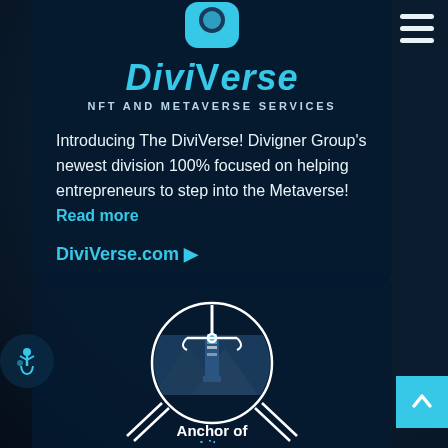[Figure (logo): DiviVerse logo: stylized blue rounded square icon at top, with 'DiviVerse' in large cyan italic text and 'NFT AND METAVERSE SERVICES' subtitle in white spaced caps]
Introducing The DiviVerse! Divigner Group's newest division 100% focused on helping entrepreneurs to step into the Metaverse! Read more
DiviVerse.com ▶
[Figure (logo): Anchor of Lite logo: white anchor and lighthouse emblem inside a circular nautical badge with arrows pointing outward, text 'Anchor of Lite' below]